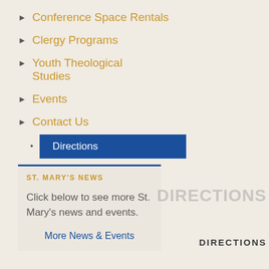Conference Space Rentals
Clergy Programs
Youth Theological Studies
Events
Contact Us
Directions
ST. MARY'S NEWS
Click below to see more St. Mary's news and events.
More News & Events
DIRECTIONS